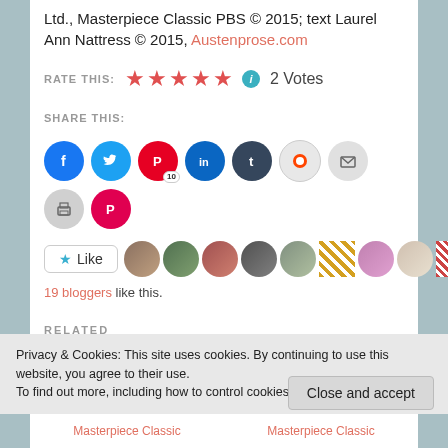Ltd., Masterpiece Classic PBS © 2015; text Laurel Ann Nattress © 2015, Austenprose.com
RATE THIS: ★★★★★ ℹ 2 Votes
SHARE THIS:
[Figure (other): Social share buttons: Facebook, Twitter, Pinterest (10), LinkedIn, Tumblr, Reddit, Email, Print, Pocket]
Like
[Figure (other): Row of 9 blogger avatar thumbnails]
19 bloggers like this.
RELATED
[Figure (photo): Two related article thumbnail images side by side]
Privacy & Cookies: This site uses cookies. By continuing to use this website, you agree to their use.
To find out more, including how to control cookies, see here: Cookie Policy
Close and accept
Masterpiece Classic   Masterpiece Classic